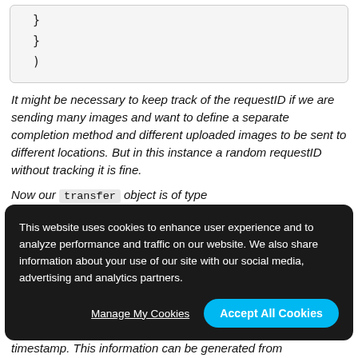}
    }
  )
It might be necessary to keep track of the requestID if we are sending many images and want to define a separate completion method and different uploaded images to be sent to different locations. But in this instance a random requestID without tracking it is fine.
Now our  transfer  object is of type
This website uses cookies to enhance user experience and to analyze performance and traffic on our website. We also share information about your use of our site with our social media, advertising and analytics partners.
timestamp. This information can be generated from